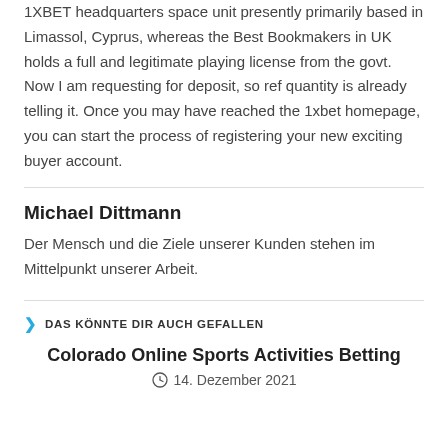1XBET headquarters space unit presently primarily based in Limassol, Cyprus, whereas the Best Bookmakers in UK holds a full and legitimate playing license from the govt. Now I am requesting for deposit, so ref quantity is already telling it. Once you may have reached the 1xbet homepage, you can start the process of registering your new exciting buyer account.
Michael Dittmann
Der Mensch und die Ziele unserer Kunden stehen im Mittelpunkt unserer Arbeit.
DAS KÖNNTE DIR AUCH GEFALLEN
Colorado Online Sports Activities Betting
14. Dezember 2021